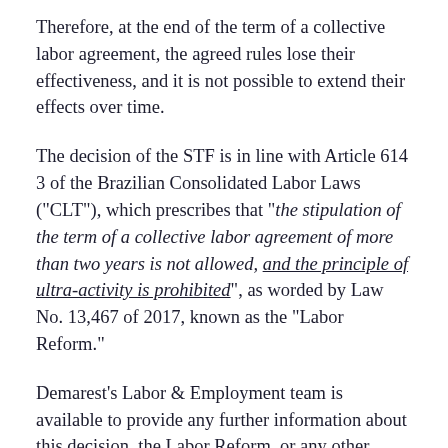Therefore, at the end of the term of a collective labor agreement, the agreed rules lose their effectiveness, and it is not possible to extend their effects over time.
The decision of the STF is in line with Article 614 3 of the Brazilian Consolidated Labor Laws ("CLT"), which prescribes that "the stipulation of the term of a collective labor agreement of more than two years is not allowed, and the principle of ultra-activity is prohibited", as worded by Law No. 13,467 of 2017, known as the "Labor Reform."
Demarest's Labor & Employment team is available to provide any further information about this decision, the Labor Reform, or any other relevant topics in the sector.